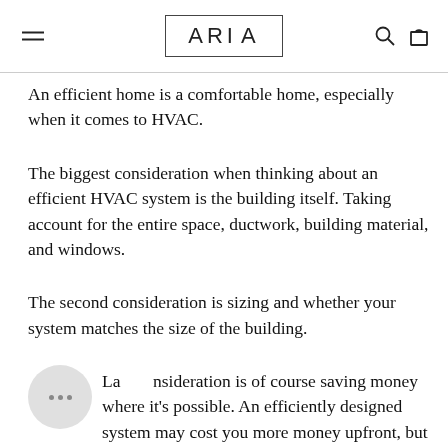ARIA
An efficient home is a comfortable home, especially when it comes to HVAC.
The biggest consideration when thinking about an efficient HVAC system is the building itself. Taking account for the entire space, ductwork, building material, and windows.
The second consideration is sizing and whether your system matches the size of the building.
Last consideration is of course saving money where it's possible. An efficiently designed system may cost you more money upfront, but can save you